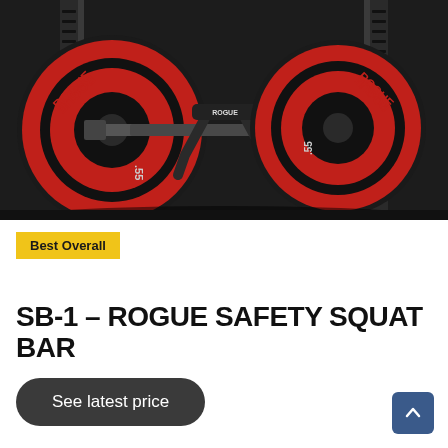[Figure (photo): A safety squat bar loaded with red and black Rogue 55lb bumper plates, resting on a power rack in a dark gym setting. The bar has angled handles and the Rogue logo is visible on the collar. Two barbell setups are visible side by side.]
Best Overall
SB-1 – ROGUE SAFETY SQUAT BAR
See latest price